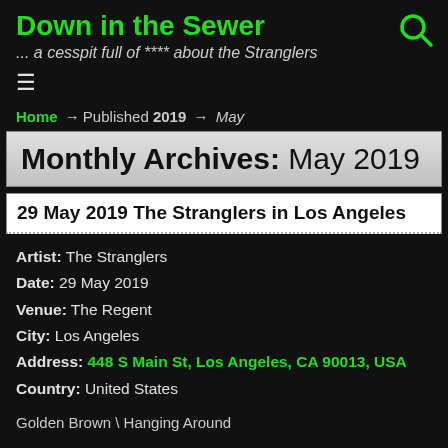Down in the Sewer ... a cesspit full of **** about the Stranglers
≡
Home → Published 2019 → May
Monthly Archives: May 2019
29 May 2019 The Stranglers in Los Angeles
Artist: The Stranglers
Date: 29 May 2019
Venue: The Regent
City: Los Angeles
Address: 448 S Main St, Los Angeles, CA 90013, USA
Country: United States
Golden Brown \ Hanging Around